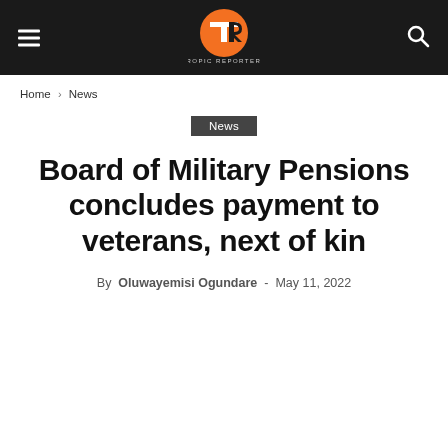Tropic Reporters — navigation header with logo, menu, and search
Home › News
News
Board of Military Pensions concludes payment to veterans, next of kin
By Oluwayemisi Ogundare - May 11, 2022